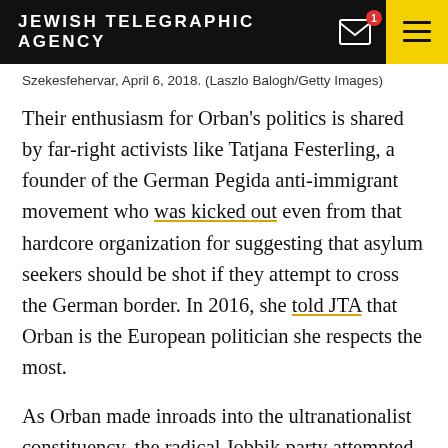JEWISH TELEGRAPHIC AGENCY
Szekesfehervar, April 6, 2018. (Laszlo Balogh/Getty Images)
Their enthusiasm for Orban's politics is shared by far-right activists like Tatjana Festerling, a founder of the German Pegida anti-immigrant movement who was kicked out even from that hardcore organization for suggesting that asylum seekers should be shot if they attempt to cross the German border. In 2016, she told JTA that Orban is the European politician she respects the most.
As Orban made inroads into the ultranationalist constituency, the radical Jobbik party attempted to move in the other direction and compete for